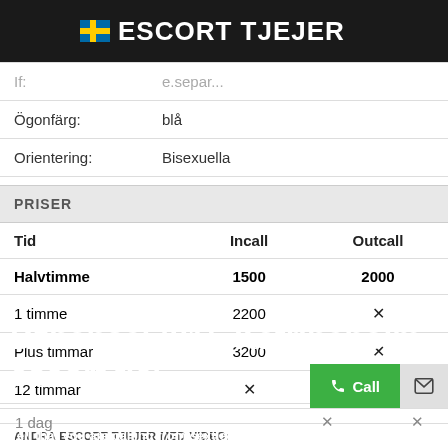ESCORT TJEJER
|  |  |
| --- | --- |
| Ögonfärg: | blå |
| Orientering: | Bisexuella |
PRISER
| Tid | Incall | Outcall |
| --- | --- | --- |
| Halvtimme | 1500 | 2000 |
| 1 timme | 2200 | ✗ |
| Plus timmar | 3200 | ✗ |
| 12 timmar | ✗ | ✗ |
| 1 dag | ✗ | ✗ |
Dzhansel (21), Katrineholm, escort tjej
Tell that you are calling from sextjejer18.com.se to increase your chances of getting a discount.
ANDRA ESCORT TJEJER MED VIDEO: